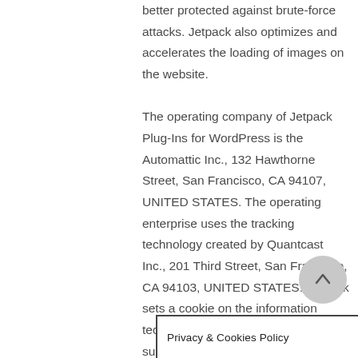better protected against brute-force attacks. Jetpack also optimizes and accelerates the loading of images on the website.
The operating company of Jetpack Plug-Ins for WordPress is the Automattic Inc., 132 Hawthorne Street, San Francisco, CA 94107, UNITED STATES. The operating enterprise uses the tracking technology created by Quantcast Inc., 201 Third Street, San Francisco, CA 94103, UNITED STATES. Jetpack sets a cookie on the information technology system used by the data subject. The definition of cookies is explained above. With each call-up to one of the individual pages of this Internet site, which is operated on
Privacy & Cookies Policy